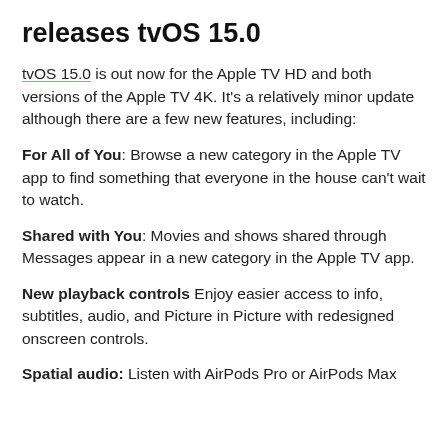releases tvOS 15.0
tvOS 15.0 is out now for the Apple TV HD and both versions of the Apple TV 4K. It's a relatively minor update although there are a few new features, including:
For All of You: Browse a new category in the Apple TV app to find something that everyone in the house can't wait to watch.
Shared with You: Movies and shows shared through Messages appear in a new category in the Apple TV app.
New playback controls Enjoy easier access to info, subtitles, audio, and Picture in Picture with redesigned onscreen controls.
Spatial audio: Listen with AirPods Pro or AirPods Max for a theater-like experience with sound that...